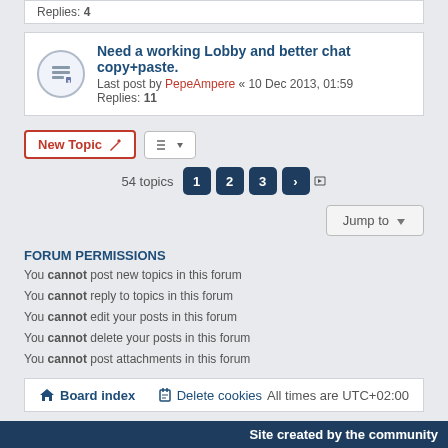Replies: 4
Need a working Lobby and better chat copy+paste.
Last post by PepeAmpere « 10 Dec 2013, 01:59
Replies: 11
54 topics  1  2  3  >
Jump to
FORUM PERMISSIONS
You cannot post new topics in this forum
You cannot reply to topics in this forum
You cannot edit your posts in this forum
You cannot delete your posts in this forum
You cannot post attachments in this forum
Board index   Delete cookies   All times are UTC+02:00
Powered by phpBB® Forum Software © phpBB Limited
Site created by the community